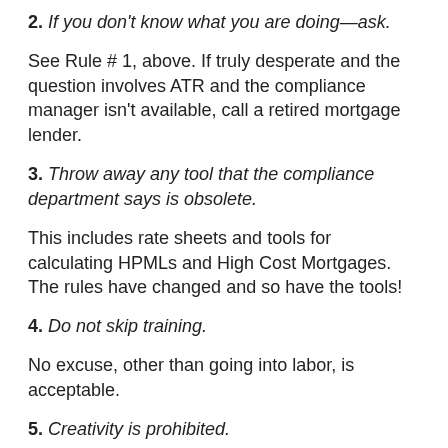2. If you don't know what you are doing—ask.
See Rule # 1, above. If truly desperate and the question involves ATR and the compliance manager isn't available, call a retired mortgage lender.
3. Throw away any tool that the compliance department says is obsolete.
This includes rate sheets and tools for calculating HPMLs and High Cost Mortgages. The rules have changed and so have the tools!
4. Do not skip training.
No excuse, other than going into labor, is acceptable.
5. Creativity is prohibited.
If you want to be creative, take an art class.